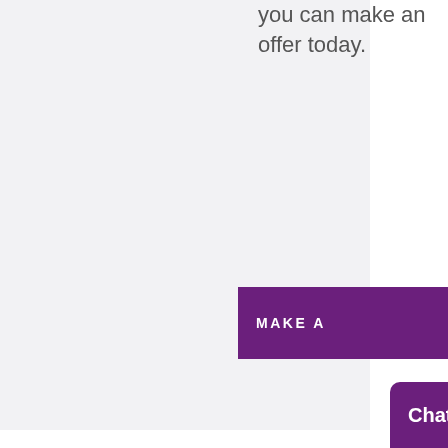[Figure (photo): Grey panel / property image placeholder on left side]
you can make an offer today.
[Figure (other): Purple 'MAKE A' button (truncated)]
OTHER PROPERTIES YOU MIGHT INTER IN
[Figure (other): reCAPTCHA widget overlay with Privacy and Terms links]
[Figure (photo): Property thumbnail card]
UNDER OFFER
Chat now